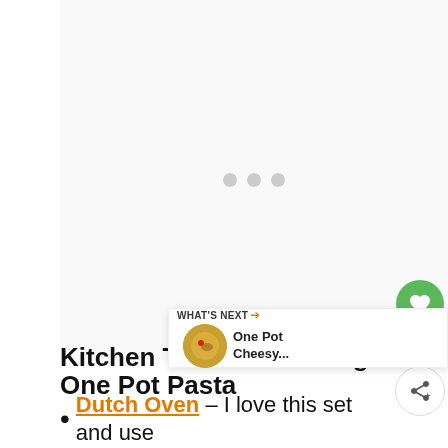[Figure (other): Advertisement placeholder with three grey dots in the center on a light grey background]
Kitchen Tools for Making One Pot Pasta
Dutch Oven – I love this set and use